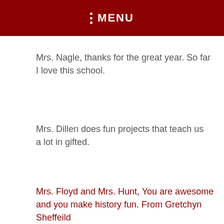MENU
Mrs. Nagle, thanks for the great year. So far I love this school.
Mrs. Dillen does fun projects that teach us a lot in gifted.
Mrs. Floyd and Mrs. Hunt, You are awesome and you make history fun. From Gretchyn Sheffeild